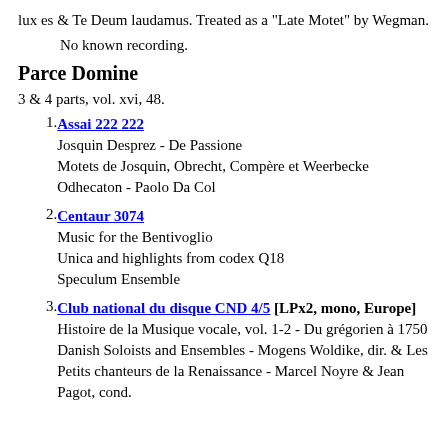lux es & Te Deum laudamus. Treated as a "Late Motet" by Wegman.
No known recording.
Parce Domine
3 & 4 parts, vol. xvi, 48.
1. Assai 222 222
Josquin Desprez - De Passione
Motets de Josquin, Obrecht, Compère et Weerbecke
Odhecaton - Paolo Da Col
2. Centaur 3074
Music for the Bentivoglio
Unica and highlights from codex Q18
Speculum Ensemble
3. Club national du disque CND 4/5 [LPx2, mono, Europe]
Histoire de la Musique vocale, vol. 1-2 - Du grégorien à 1750
Danish Soloists and Ensembles - Mogens Woldike, dir. & Les Petits chanteurs de la Renaissance - Marcel Noyre & Jean Pagot, cond.